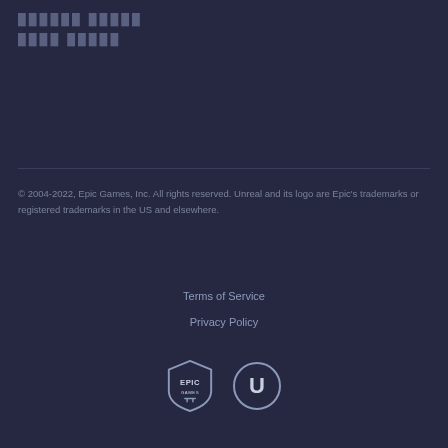██████ █████
████ █████
© 2004-2022, Epic Games, Inc. All rights reserved. Unreal and its logo are Epic's trademarks or registered trademarks in the US and elsewhere.
Terms of Service
Privacy Policy
[Figure (logo): Epic Games shield logo and Unreal Engine circular logo]
© 2004-2022, Epic Games, Inc.